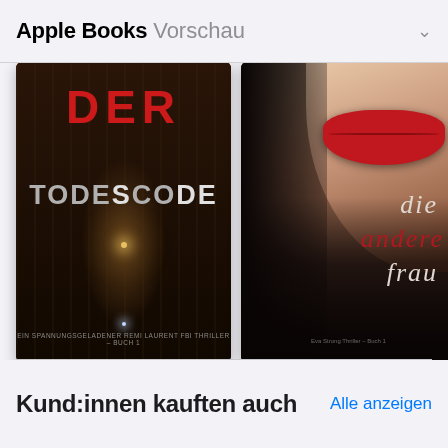Apple Books Vorschau
[Figure (illustration): Book cover: Der Todescode — dark tunnel background with red title text 'DER' and grey/white 'TODESCODE', glowing light at tunnel end]
Der Todescode (Ein spannungsgeladener Remi...
2021
[Figure (illustration): Book cover: Die andere Frau — close-up of woman's face with red lips, dark shadow, italic text 'die andere frau' in white and red]
Die andere Frau (Ein Stella-Fall-Thriller – Band 1)
2021
[Figure (illustration): Partially visible third book cover, dark purple/navy]
De spa
202
Kund:innen kauften auch
Alle anzeigen